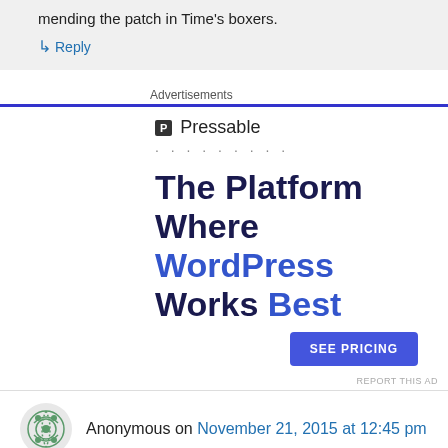mending the patch in Time's boxers.
↳ Reply
Advertisements
[Figure (other): Pressable advertisement: logo with 'P' icon and 'Pressable' text, dotted separator, headline 'The Platform Where WordPress Works Best', blue 'SEE PRICING' button, 'REPORT THIS AD' link]
Anonymous on November 21, 2015 at 12:45 pm